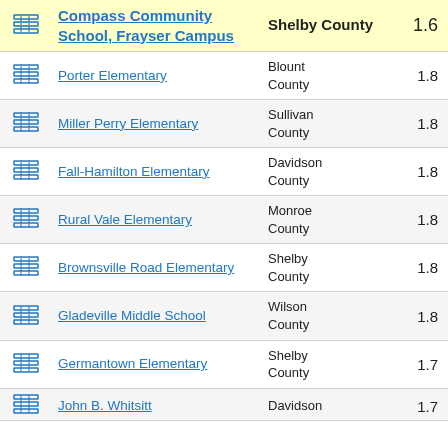|  | School | County | Score |
| --- | --- | --- | --- |
| [icon] | Compass Community School, Frayser Campus | Shelby County | 1.6 |
| [icon] | Porter Elementary | Blount County | 1.8 |
| [icon] | Miller Perry Elementary | Sullivan County | 1.8 |
| [icon] | Fall-Hamilton Elementary | Davidson County | 1.8 |
| [icon] | Rural Vale Elementary | Monroe County | 1.8 |
| [icon] | Brownsville Road Elementary | Shelby County | 1.8 |
| [icon] | Gladeville Middle School | Wilson County | 1.8 |
| [icon] | Germantown Elementary | Shelby County | 1.7 |
| [icon] | John B. Whitsitt | Davidson County | 1.7 |